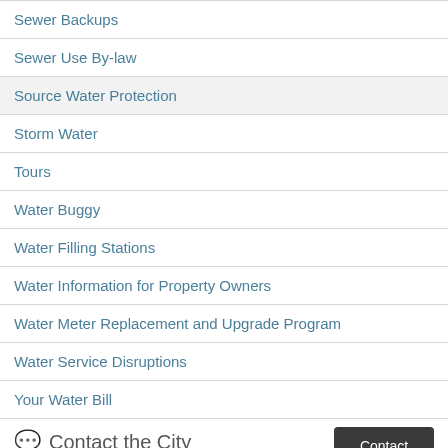Sewer Backups
Sewer Use By-law
Source Water Protection
Storm Water
Tours
Water Buggy
Water Filling Stations
Water Information for Property Owners
Water Meter Replacement and Upgrade Program
Water Service Disruptions
Your Water Bill
Contact the City
Online: Customer Service Portal
Email: 311@greatersudbury.ca